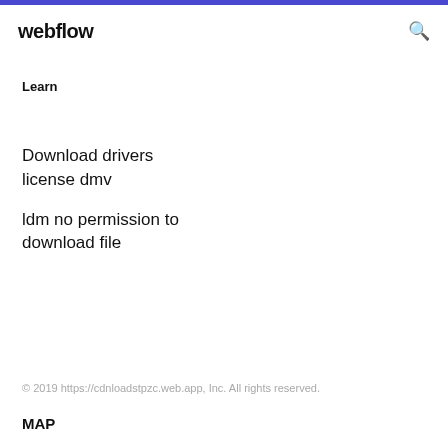webflow
Learn
Download drivers license dmv
ldm no permission to download file
© 2019 https://cdnloadstpzc.web.app, Inc. All rights reserved.
MAP